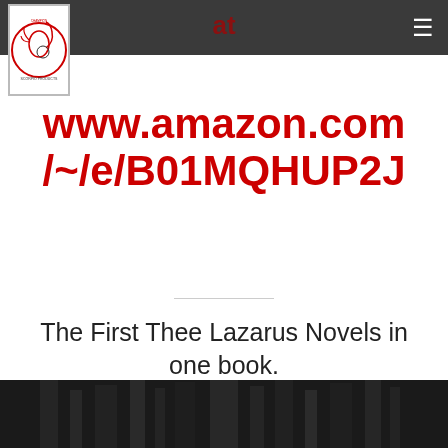at
[Figure (logo): Circular logo with scorpion and text around the edge, red and black on white background]
www.amazon.com/~/e/B01MQHUP2J
The First Thee Lazarus Novels in one book.
[Figure (photo): Dark black and white photo at bottom of page, partial view of what appears to be a figure or book cover]